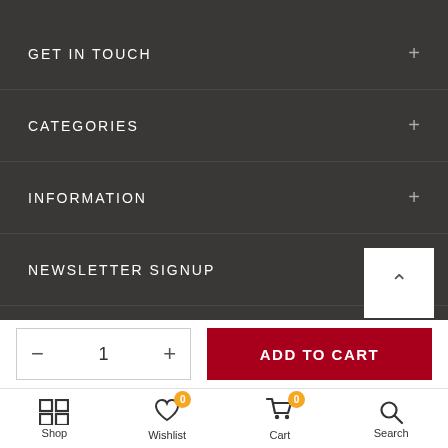GET IN TOUCH
CATEGORIES
INFORMATION
NEWSLETTER SIGNUP
- 1 +
ADD TO CART
Shop
Wishlist
Cart
Search